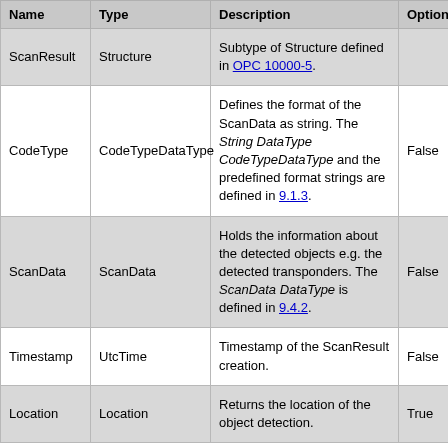| Name | Type | Description | Optional |
| --- | --- | --- | --- |
| ScanResult | Structure | Subtype of Structure defined in OPC 10000-5. |  |
| CodeType | CodeTypeDataType | Defines the format of the ScanData as string. The String DataType CodeTypeDataType and the predefined format strings are defined in 9.1.3. | False |
| ScanData | ScanData | Holds the information about the detected objects e.g. the detected transponders. The ScanData DataType is defined in 9.4.2. | False |
| Timestamp | UtcTime | Timestamp of the ScanResult creation. | False |
| Location | Location | Returns the location of the object detection. | True |